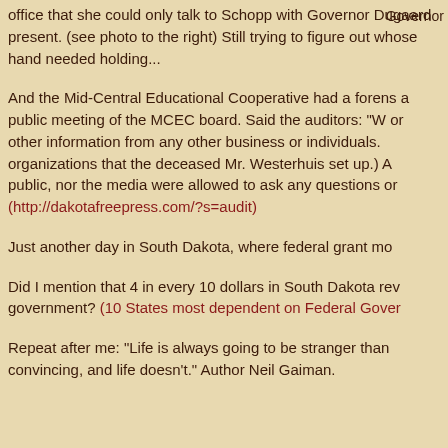office that she could only talk to Schopp with Governor Dugaard present. (see photo to the right)  Still trying to figure out whose hand needed holding...
Governor
And the Mid-Central Educational Cooperative had a forensic audit a public meeting of the MCEC board. Said the auditors: "W or other information from any other business or individuals. organizations that the deceased Mr. Westerhuis set up.)  A public, nor the media were allowed to ask any questions or (http://dakotafreepress.com/?s=audit)
Just another day in South Dakota, where federal grant mo
Did I mention that 4 in every 10 dollars in South Dakota re government? (10 States most dependent on Federal Gover
Repeat after me:  "Life is always going to be stranger than convincing, and life doesn't." Author Neil Gaiman.